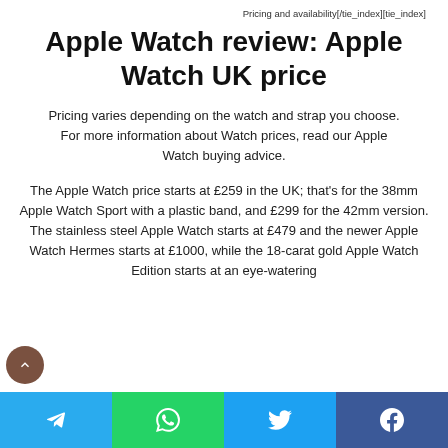Pricing and availability[/tie_index][tie_index]
Apple Watch review: Apple Watch UK price
Pricing varies depending on the watch and strap you choose. For more information about Watch prices, read our Apple Watch buying advice.
The Apple Watch price starts at £259 in the UK; that's for the 38mm Apple Watch Sport with a plastic band, and £299 for the 42mm version. The stainless steel Apple Watch starts at £479 and the newer Apple Watch Hermes starts at £1000, while the 18-carat gold Apple Watch Edition starts at an eye-watering